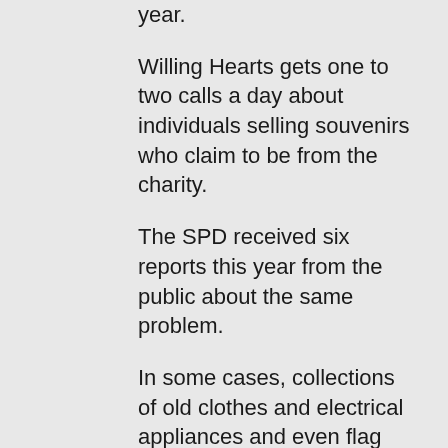year.
Willing Hearts gets one to two calls a day about individuals selling souvenirs who claim to be from the charity.
The SPD received six reports this year from the public about the same problem.
In some cases, collections of old clothes and electrical appliances and even flag days have been conducted behind SPD's back.
"Everybody's